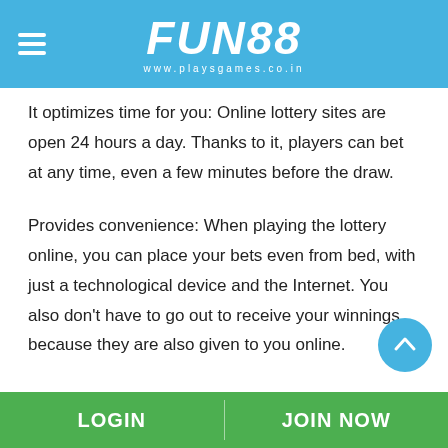FUN88 www.playsgames.co.in
It optimizes time for you: Online lottery sites are open 24 hours a day. Thanks to it, players can bet at any time, even a few minutes before the draw.
Provides convenience: When playing the lottery online, you can place your bets even from bed, with just a technological device and the Internet. You also don't have to go out to receive your winnings because they are also given to you online.
LOGIN   JOIN NOW